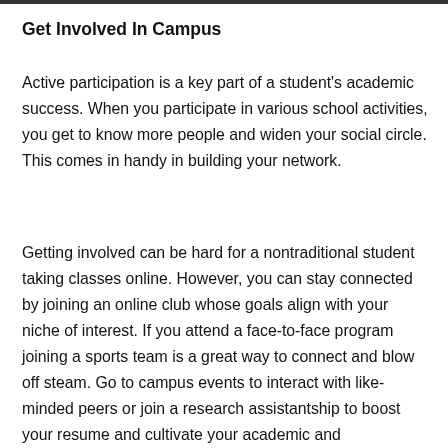Get Involved In Campus
Active participation is a key part of a student's academic success. When you participate in various school activities, you get to know more people and widen your social circle. This comes in handy in building your network.
Getting involved can be hard for a nontraditional student taking classes online. However, you can stay connected by joining an online club whose goals align with your niche of interest. If you attend a face-to-face program joining a sports team is a great way to connect and blow off steam. Go to campus events to interact with like-minded peers or join a research assistantship to boost your resume and cultivate your academic and